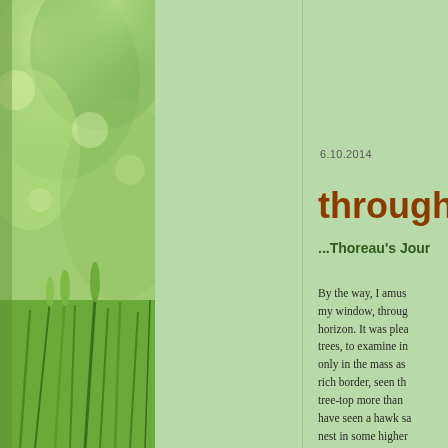[Figure (photo): Close-up photo of green grass/wheat stalks with blurred bokeh background in soft greens]
6.10.2014
through a
...Thoreau's Jour
By the way, I amus my window, through horizon. It was plea trees, to examine in only in the mass as rich border, seen th tree-top more than have seen a hawk sa nest in some higher village, the hawks o